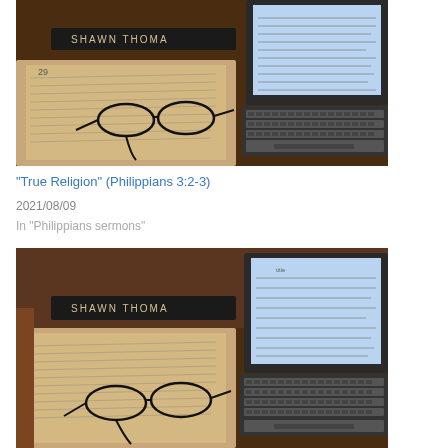[Figure (photo): Photo of an open Bible with glasses resting on it and a laptop computer showing a document, on a wooden desk with a nameplate reading 'SHAWN THOMA']
“True Religion” (Philippians 3:2-3)
2021/08/09
In “Philippians sermons”
[Figure (photo): Similar photo of an open Bible with glasses resting on it and a laptop computer showing a document, on a wooden desk with a nameplate reading 'SHAWN THOMA']